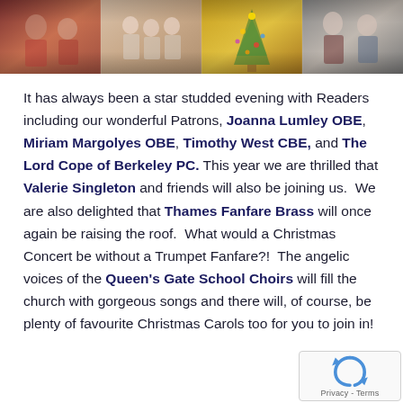[Figure (photo): A horizontal banner of multiple Christmas event photos showing people at a Christmas concert/gathering, choir children, decorated Christmas tree, and elderly patrons.]
It has always been a star studded evening with Readers including our wonderful Patrons, Joanna Lumley OBE, Miriam Margolyes OBE, Timothy West CBE, and The Lord Cope of Berkeley PC. This year we are thrilled that Valerie Singleton and friends will also be joining us. We are also delighted that Thames Fanfare Brass will once again be raising the roof. What would a Christmas Concert be without a Trumpet Fanfare?! The angelic voices of the Queen's Gate School Choirs will fill the church with gorgeous songs and there will, of course, be plenty of favourite Christmas Carols too for you to join in!